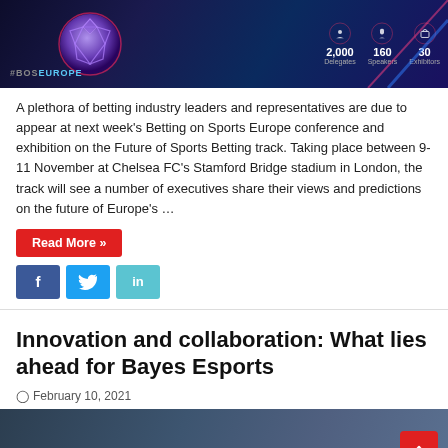[Figure (photo): Banner image for #BOSEUROPE Betting on Sports Europe event showing a glowing soccer ball on dark background with stats: 2,000 Delegates, 160 Speakers, 30 Exhibitors]
A plethora of betting industry leaders and representatives are due to appear at next week’s Betting on Sports Europe conference and exhibition on the Future of Sports Betting track. Taking place between 9-11 November at Chelsea FC’s Stamford Bridge stadium in London, the track will see a number of executives share their views and predictions on the future of Europe’s …
Read More »
[Figure (infographic): Social media share buttons: Facebook (f), Twitter (bird), LinkedIn (in)]
Innovation and collaboration: What lies ahead for Bayes Esports
○ February 10, 2021
[Figure (photo): Group photo of people seated and standing, likely at an office or event venue]